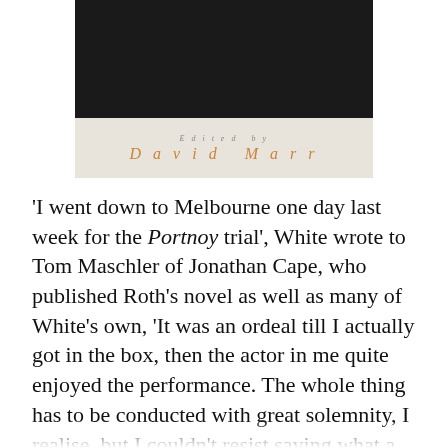[Figure (photo): Book cover showing dark image at top and cream-colored lower portion with italic text 'Edited by' and author name 'David Marr' in orange italic lettering]
'I went down to Melbourne one day last week for the Portnoy trial', White wrote to Tom Maschler of Jonathan Cape, who published Roth's novel as well as many of White's own, 'It was an ordeal till I actually got in the box, then the actor in me quite enjoyed the performance. The whole thing has to be conducted with great solemnity, I realise, but I couldn't resist saying what a funny book I think Portnoy is: I hope I didn't put my foot in it.'[6]